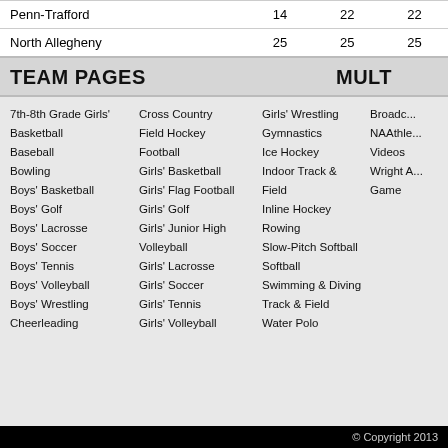| School | Col1 | Col2 | Col3 |
| --- | --- | --- | --- |
| Penn-Trafford | 14 | 22 | 22 |
| North Allegheny | 25 | 25 | 25 |
TEAM PAGES
MULT
7th-8th Grade Girls' Basketball
Baseball
Bowling
Boys' Basketball
Boys' Golf
Boys' Lacrosse
Boys' Soccer
Boys' Tennis
Boys' Volleyball
Boys' Wrestling
Cheerleading
Cross Country
Field Hockey
Football
Girls' Basketball
Girls' Flag Football
Girls' Golf
Girls' Junior High Volleyball
Girls' Lacrosse
Girls' Soccer
Girls' Tennis
Girls' Volleyball
Girls' Wrestling
Gymnastics
Ice Hockey
Indoor Track & Field
Inline Hockey
Rowing
Slow-Pitch Softball
Softball
Swimming & Diving
Track & Field
Water Polo
Broadc...
NAAthle...
Videos
Wright A... Game
© Copyright 2013